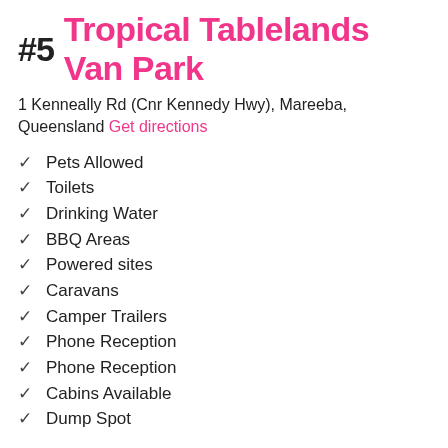#5 Tropical Tablelands Van Park
1 Kenneally Rd (Cnr Kennedy Hwy), Mareeba, Queensland Get directions
✓ Pets Allowed
✓ Toilets
✓ Drinking Water
✓ BBQ Areas
✓ Powered sites
✓ Caravans
✓ Camper Trailers
✓ Phone Reception
✓ Phone Reception
✓ Cabins Available
✓ Dump Spot
[Figure (logo): Aircamp Australia app icon - pink/red rounded square with white triangle]
Aircamp Australia
Find campsites Australia-wide, easy & free.
INSTALL